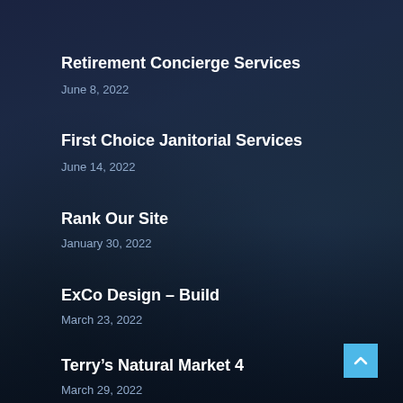Retirement Concierge Services
June 8, 2022
First Choice Janitorial Services
June 14, 2022
Rank Our Site
January 30, 2022
ExCo Design – Build
March 23, 2022
Terry's Natural Market 4
March 29, 2022